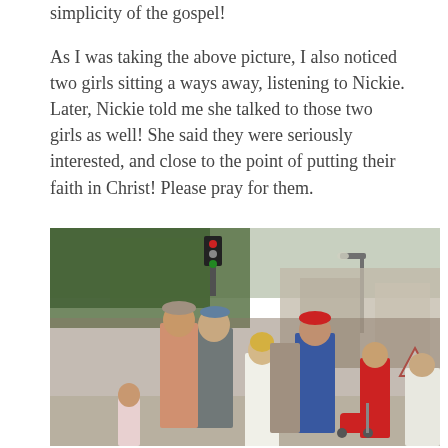simplicity of the gospel!
As I was taking the above picture, I also noticed two girls sitting a ways away, listening to Nickie. Later, Nickie told me she talked to those two girls as well! She said they were seriously interested, and close to the point of putting their faith in Christ! Please pray for them.
[Figure (photo): Outdoor street scene with a crowd of people gathered on a city street. Several individuals are visible in the foreground including two tall men in casual summer clothing, a woman with blonde hair in a white tank top, and a man in a red cap and blue shirt. Trees, traffic lights, and city buildings are visible in the background. Appears to be a summer outdoor event.]